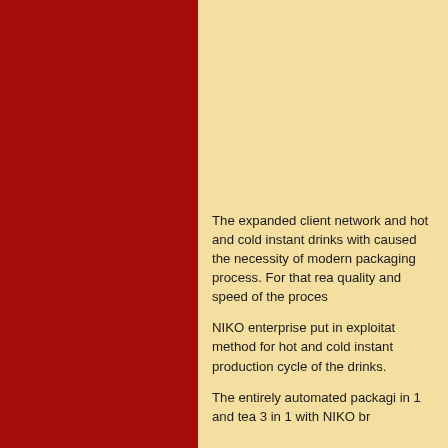[Figure (other): Large dark red vertical panel on the left side of the page, decorative background element]
The expanded client network and hot and cold instant drinks with caused the necessity of modern packaging process. For that rea quality and speed of the proces
NIKO enterprise put in exploitat method for hot and cold instant production cycle of the drinks.
The entirely automated packagi in 1 and tea 3 in 1 with NIKO br